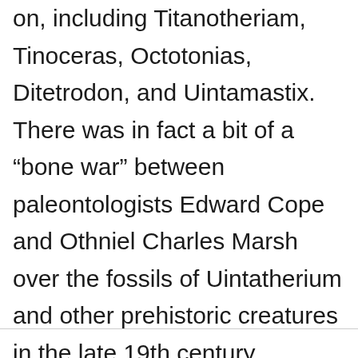on, including Titanotheriam, Tinoceras, Octotonias, Ditetrodon, and Uintamastix. There was in fact a bit of a “bone war” between paleontologists Edward Cope and Othniel Charles Marsh over the fossils of Uintatherium and other prehistoric creatures in the late 19th century.